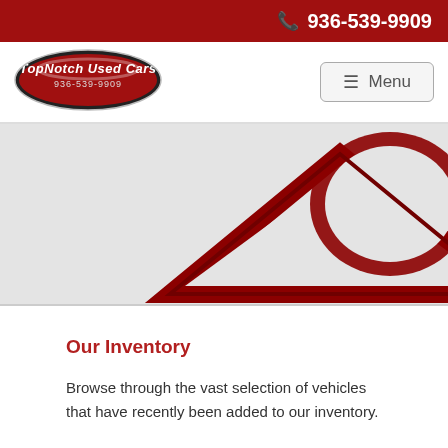📞 936-539-9909
[Figure (logo): TopNotch Used Cars oval logo with red and silver styling, phone number 936-539-9909]
[Figure (other): Menu button with hamburger icon and text 'Menu']
[Figure (photo): Partial hero image band showing dark red triangular shapes/arrows on a light grey background]
Our Inventory
Browse through the vast selection of vehicles that have recently been added to our inventory.